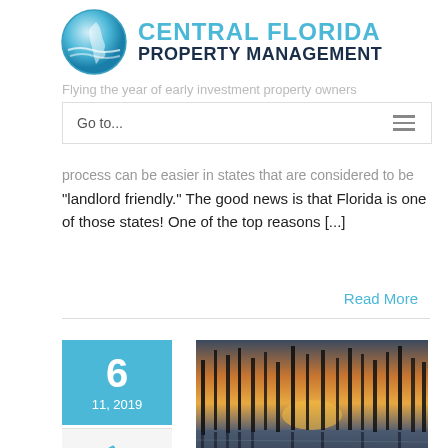[Figure (logo): Central Florida Property Management logo with globe icon and blue/dark navy text]
Flying the year of early investment property owners
Go to...
process can be easier in states that are considered to be "landlord friendly." The good news is that Florida is one of those states! One of the top reasons [...]
Read More
6
11, 2019
[Figure (photo): Florida swamp/wetland landscape at sunset with cypress trees silhouetted against golden sky reflecting in water]